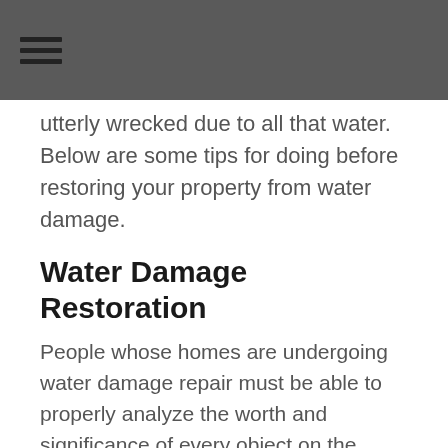☰
utterly wrecked due to all that water. Below are some tips for doing before restoring your property from water damage.
Water Damage Restoration
People whose homes are undergoing water damage repair must be able to properly analyze the worth and significance of every object on the premises. When it comes to water damage restoration, when the bulk of your goods have been ruined, you'll have the complex problem of deciding what to preserve and throw away.
It's upsetting since you're undoubtedly attached to your possessions, but retaining items that are beyond repair is impractical. It will only cost you a lot of storage